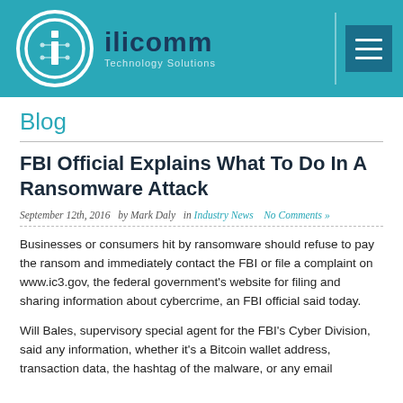[Figure (logo): ilicomm Technology Solutions logo with circular icon on teal header bar with hamburger menu button]
Blog
FBI Official Explains What To Do In A Ransomware Attack
September 12th, 2016  by Mark Daly  in Industry News  No Comments »
Businesses or consumers hit by ransomware should refuse to pay the ransom and immediately contact the FBI or file a complaint on www.ic3.gov, the federal government's website for filing and sharing information about cybercrime, an FBI official said today.
Will Bales, supervisory special agent for the FBI's Cyber Division, said any information, whether it's a Bitcoin wallet address, transaction data, the hashtag of the malware, or any email